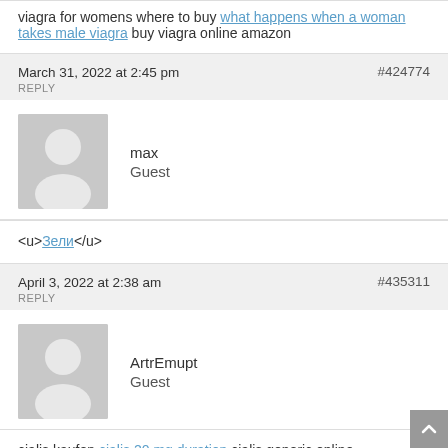viagra for womens where to buy what happens when a woman takes male viagra buy viagra online amazon
March 31, 2022 at 2:45 pm   #424774
REPLY
max
Guest
<u>Зели</u>
April 3, 2022 at 2:38 am   #435311
REPLY
ArtrEmupt
Guest
cialis kaufen cialis 20 mg duration cialis generic online